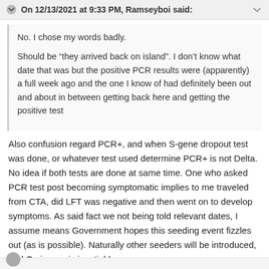On 12/13/2021 at 9:33 PM, Ramseyboi said:
No.  I chose my words badly.

Should be “they arrived back on island”.  I don’t know what date that was but the positive PCR results were (apparently) a full week ago and the one I know of had definitely been out and about in between getting back here and getting the positive test
Also confusion regard PCR+, and when S-gene dropout test was done, or whatever test used determine PCR+ is not Delta. No idea if both tests are done at same time. One who asked PCR test post becoming symptomatic implies to me traveled from CTA, did LFT was negative and then went on to develop symptoms. As said fact we not being told relevant dates, I assume means Government hopes this seeding event fizzles out (as is possible). Naturally other seeders will be introduced, and Omi wave is inevtiable.